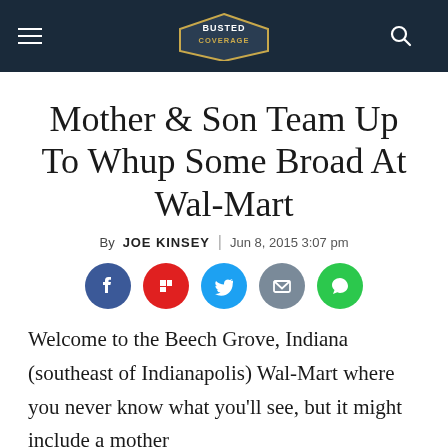Busted Coverage
Mother & Son Team Up To Whup Some Broad At Wal-Mart
By JOE KINSEY | Jun 8, 2015 3:07 pm
[Figure (infographic): Social sharing icons: Facebook, Flipboard, Twitter, Email, Message]
Welcome to the Beech Grove, Indiana (southeast of Indianapolis) Wal-Mart where you never know what you'll see, but it might include a mother